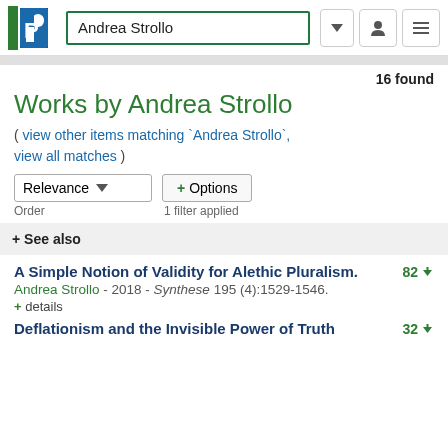Andrea Strollo — PhilPapers search results header
16 found
Works by Andrea Strollo
( view other items matching `Andrea Strollo`, view all matches )
Relevance ▾   + Options
Order   1 filter applied
+ See also
A Simple Notion of Validity for Alethic Pluralism.   82 ↓
Andrea Strollo - 2018 - Synthese 195 (4):1529-1546.
+ details
Deflationism and the Invisible Power of Truth   32 ↓